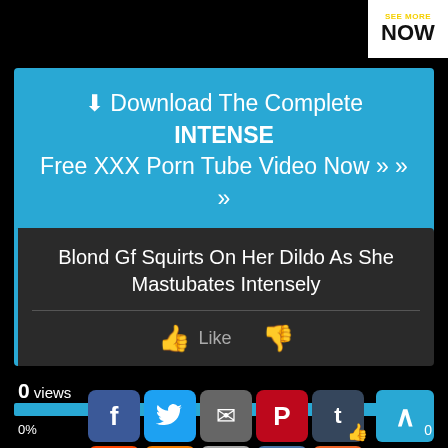[Figure (screenshot): SEE MORE NOW banner button in top right corner, white background with yellow 'SEE MORE' text and black bold 'NOW' text]
⬇ Download The Complete INTENSE Free XXX Porn Tube Video Now » » »
Blond Gf Squirts On Her Dildo As She Mastubates Intensely
👍 Like  👎
0 views
0%
[Figure (screenshot): Row of social sharing icons: Facebook, Twitter, Email, Pinterest, Tumblr (top row); Reddit, Blogger, WordPress, VK, Add (bottom row); plus scroll-to-top button]